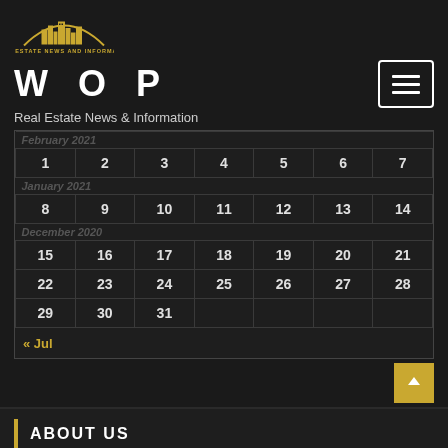[Figure (logo): Real Estate News and Information logo with golden city skyline icon and text]
W O P
Real Estate News & Information
| February 2021 |
| 1 | 2 | 3 | 4 | 5 | 6 | 7 |
| January 2021 |
| 8 | 9 | 10 | 11 | 12 | 13 | 14 |
| December 2020 |
| 15 | 16 | 17 | 18 | 19 | 20 | 21 |
| 22 | 23 | 24 | 25 | 26 | 27 | 28 |
| 29 | 30 | 31 |  |  |  |  |
« Jul
ABOUT US